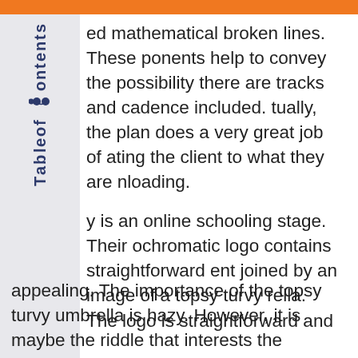ed mathematical broken lines. These ponents help to convey the possibility there are tracks and cadence included. tually, the plan does a very great job of ating the client to what they are nloading.
y is an online schooling stage. Their ochromatic logo contains straightforward ent joined by an image of a topsy turvy rella. The logo is straightforward and appealing. The importance of the topsy turvy umbrella is hazy. However, it is maybe the riddle that interests the watcher. Is it a